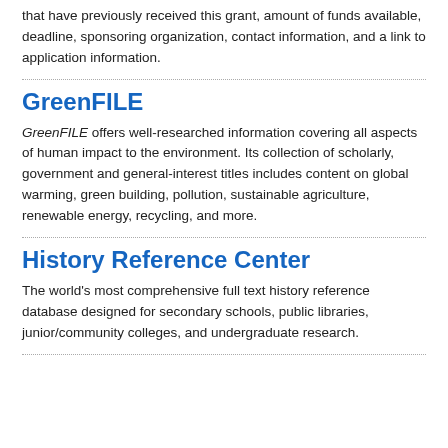that have previously received this grant, amount of funds available, deadline, sponsoring organization, contact information, and a link to application information.
GreenFILE
GreenFILE offers well-researched information covering all aspects of human impact to the environment. Its collection of scholarly, government and general-interest titles includes content on global warming, green building, pollution, sustainable agriculture, renewable energy, recycling, and more.
History Reference Center
The world's most comprehensive full text history reference database designed for secondary schools, public libraries, junior/community colleges, and undergraduate research.